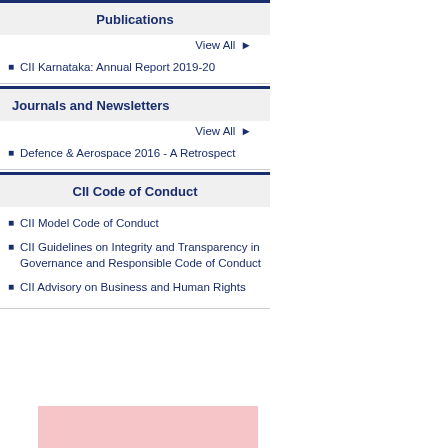Publications
View All ▶
CII Karnataka: Annual Report 2019-20
Journals and Newsletters
View All ▶
Defence & Aerospace 2016 - A Retrospect
CII Code of Conduct
CII Model Code of Conduct
CII Guidelines on Integrity and Transparency in Governance and Responsible Code of Conduct
CII Advisory on Business and Human Rights
[Figure (photo): Pink background image at the bottom of the page, partially visible]